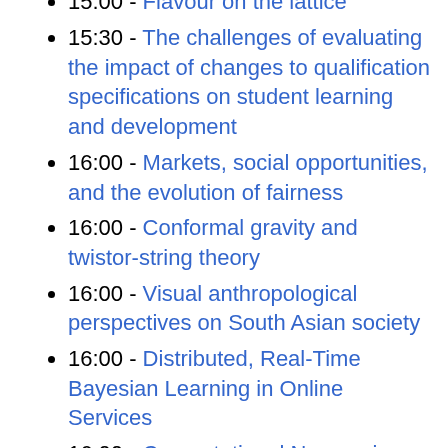14:00 - Classicality for overconvergent eigenforms on some Shimura varieties
15:00 - Flavour on the lattice
15:30 - The challenges of evaluating the impact of changes to qualification specifications on student learning and development
16:00 - Markets, social opportunities, and the evolution of fairness
16:00 - Conformal gravity and twistor-string theory
16:00 - Visual anthropological perspectives on South Asian society
16:00 - Distributed, Real-Time Bayesian Learning in Online Services
16:00 - Computational Neuroscience Journal Club